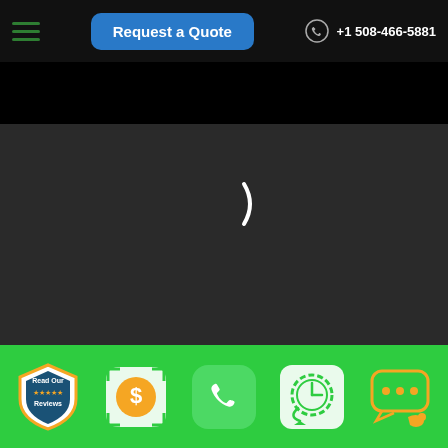[Figure (screenshot): Website header with hamburger menu, 'Request a Quote' blue button, phone icon and number +1 508-466-5881]
[Figure (screenshot): Video player showing a dark/loading screen at 0:00 with playback controls (play, volume, fullscreen, more) and a progress bar]
[Figure (photo): Photo strip showing people in a vehicle cab, one wearing a Fresh Start Moving cap, with a play button overlay in top right corner]
[Figure (screenshot): Green bottom action bar with five icons: Read Our Reviews (badge), dollar sign quote icon, green phone icon, clock/schedule icon, chat/messaging icon]